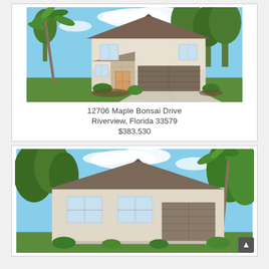[Figure (photo): Two-story beige/cream stucco house with brown garage door, brown trim, palm tree on left, green lawn and landscaping, blue sky with clouds, concrete driveway]
12706 Maple Bonsai Drive
Riverview, Florida 33579
$383,530
[Figure (photo): Partial view of a one-story beige/cream stucco house with brown shingle roof, two front windows, palm trees on right side, blue sky with clouds]